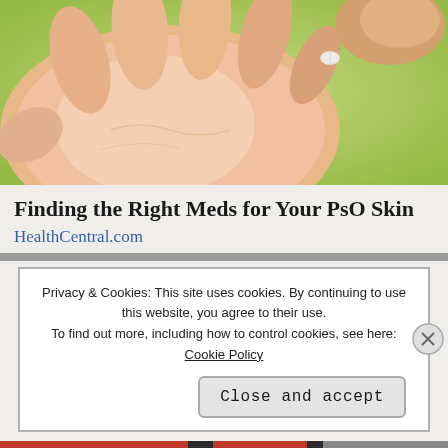[Figure (photo): Close-up photo of a hand with open palm, being handed a small pill or tablet by another hand, against a green background.]
Finding the Right Meds for Your PsO Skin
HealthCentral.com
Privacy & Cookies: This site uses cookies. By continuing to use this website, you agree to their use.
To find out more, including how to control cookies, see here: Cookie Policy
Close and accept